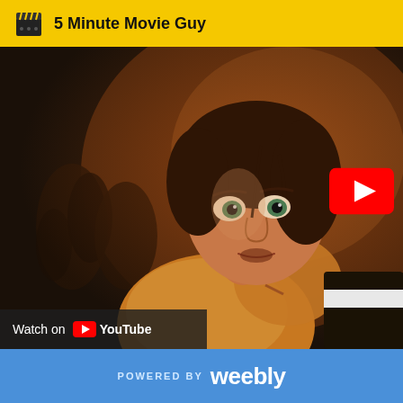5 Minute Movie Guy
[Figure (screenshot): YouTube video thumbnail showing a woman with an alarmed expression in a dark, dramatic scene. A YouTube play button is visible in the top right. At the bottom left, a 'Watch on YouTube' label is shown.]
POWERED BY weebly